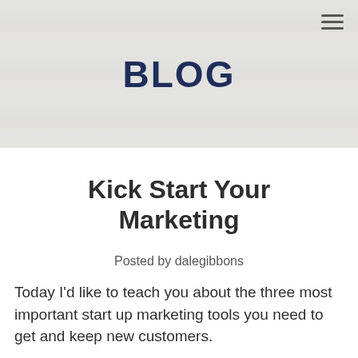[Figure (photo): Stone/brick textured background banner with the word BLOG centered in dark navy bold text, and a hamburger menu icon in the top right corner.]
Kick Start Your Marketing
Posted by dalegibbons
Today I'd like to teach you about the three most important start up marketing tools you need to get and keep new customers.